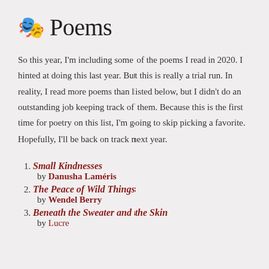🎭 Poems
So this year, I'm including some of the poems I read in 2020. I hinted at doing this last year. But this is really a trial run. In reality, I read more poems than listed below, but I didn't do an outstanding job keeping track of them. Because this is the first time for poetry on this list, I'm going to skip picking a favorite. Hopefully, I'll be back on track next year.
1. Small Kindnesses by Danusha Laméris
2. The Peace of Wild Things by Wendel Berry
3. Beneath the Sweater and the Skin by ...